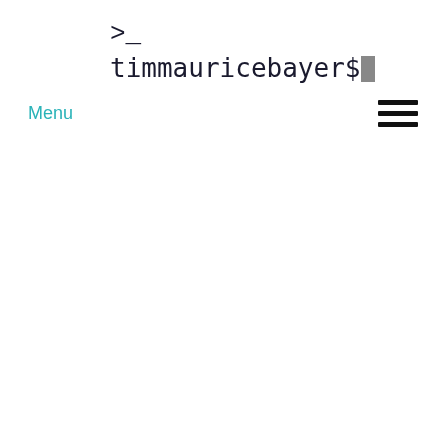>_
timmauricebayer$
Menu
[Figure (illustration): Hamburger menu icon: three horizontal black bars stacked vertically, positioned in top-right area]